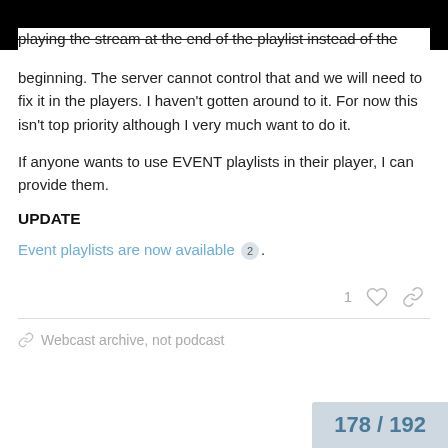playing the stream at the end of the playlist instead of the beginning. The server cannot control that and we will need to fix it in the players. I haven't gotten around to it. For now this isn't top priority although I very much want to do it.
If anyone wants to use EVENT playlists in their player, I can provide them.
UPDATE
Event playlists are now available 2 .
Webcast archive, not podcast
178 / 192